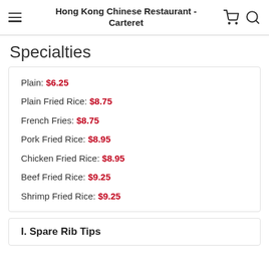Hong Kong Chinese Restaurant - Carteret
Specialties
Plain: $6.25
Plain Fried Rice: $8.75
French Fries: $8.75
Pork Fried Rice: $8.95
Chicken Fried Rice: $8.95
Beef Fried Rice: $9.25
Shrimp Fried Rice: $9.25
I. Spare Rib Tips